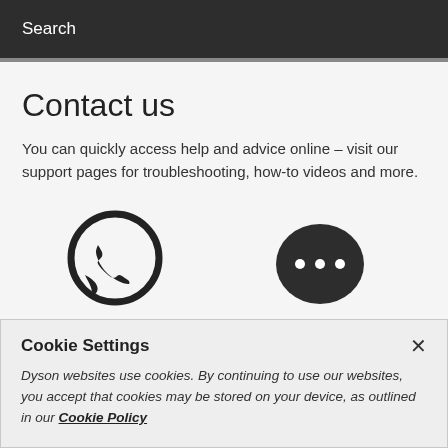Search
Contact us
You can quickly access help and advice online – visit our support pages for troubleshooting, how-to videos and more.
[Figure (illustration): Two icons side by side: a phone/WhatsApp speech bubble icon on the left and a dark chat/messaging speech bubble with three dots on the right.]
Cookie Settings
Dyson websites use cookies. By continuing to use our websites, you accept that cookies may be stored on your device, as outlined in our Cookie Policy